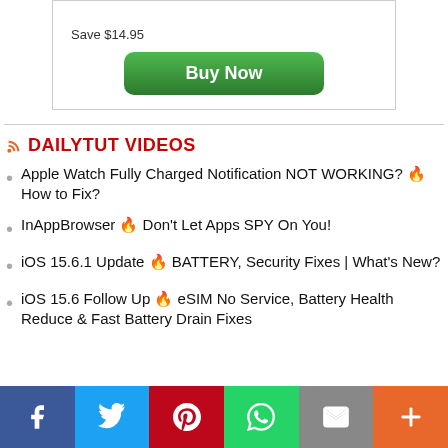[Figure (other): Promo box with Save $14.95 text and green Buy Now button]
DAILYTUT VIDEOS
Apple Watch Fully Charged Notification NOT WORKING? 🔥 How to Fix?
InAppBrowser 🔥 Don't Let Apps SPY On You!
iOS 15.6.1 Update 🔥 BATTERY, Security Fixes | What's New?
iOS 15.6 Follow Up 🔥 eSIM No Service, Battery Health Reduce & Fast Battery Drain Fixes
Share bar: Facebook, Twitter, Pinterest, WhatsApp, Email, More